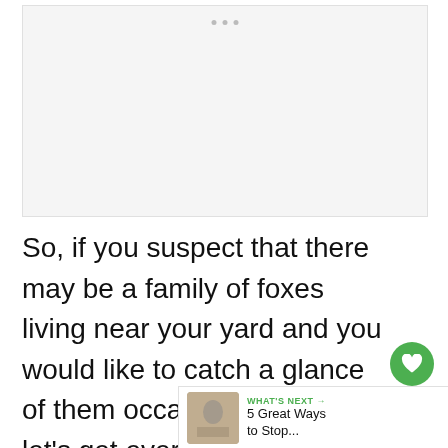[Figure (photo): Light grey placeholder image area with three small dots at the top center indicating a carousel or loading indicator]
So, if you suspect that there may be a family of foxes living near your yard and you would like to catch a glance of them occasionally, then let’s get everything ready to go fox spotting!
[Figure (other): WHAT'S NEXT arrow label with thumbnail and text: 5 Great Ways to Stop...]